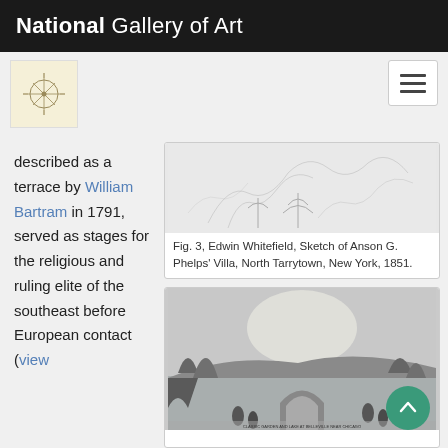National Gallery of Art
described as a terrace by William Bartram in 1791, served as stages for the religious and ruling elite of the southeast before European contact (view
[Figure (illustration): Sketch of Anson G. Phelps' Villa, North Tarrytown, New York, 1851 by Edwin Whitefield — pencil sketch of trees and landscape]
Fig. 3, Edwin Whitefield, Sketch of Anson G. Phelps' Villa, North Tarrytown, New York, 1851.
[Figure (illustration): Historic engraving of a garden or park scene near a body of water with figures in the foreground, trees and cliffs in the background, possibly a Hudson River scene.]